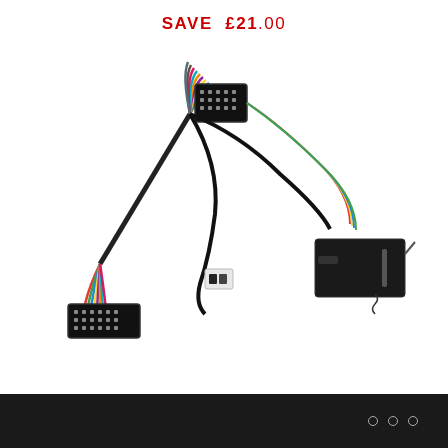SAVE £21.00
[Figure (photo): Car audio wiring harness kit with colorful multi-pin connectors, wiring cables, a small black control box/module, a small white connector clip, and a wire tie — product shown on white background.]
○ ○ ○